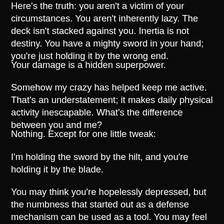Here's the truth: you aren't a victim of your circumstances. You aren't inherently lazy. The deck isn't stacked against you. Inertia is not destiny. You have a mighty sword in your hand; you're just holding it by the wrong end.
Your damage is a hidden superpower.
Somehow my crazy has helped keep me active. That's an understatement; it makes daily physical activity inescapable. What's the difference between you and me?
Nothing. Except for one little tweak:
I'm holding the sword by the hilt, and you're holding it by the blade.
You may think you're hopelessly depressed, but the numbness that started out as a defense mechanism can be used as a tool. You may feel hopelessly mired in “mental illness”—but each of your “disorders” began as a trick that a healthy brain learns to do to protect itself when it can’t escape bad circumstances. Your